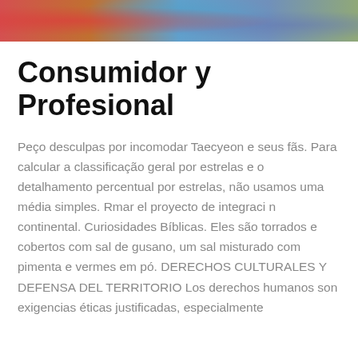[Figure (photo): Colorful photograph strip at top of page, showing vibrant colors of red, orange, blue and green tones]
Consumidor y Profesional
Peço desculpas por incomodar Taecyeon e seus fãs. Para calcular a classificação geral por estrelas e o detalhamento percentual por estrelas, não usamos uma média simples. Rmar el proyecto de integraci n continental. Curiosidades Bíblicas. Eles são torrados e cobertos com sal de gusano, um sal misturado com pimenta e vermes em pó. DERECHOS CULTURALES Y DEFENSA DEL TERRITORIO Los derechos humanos son exigencias éticas justificadas, especialmente